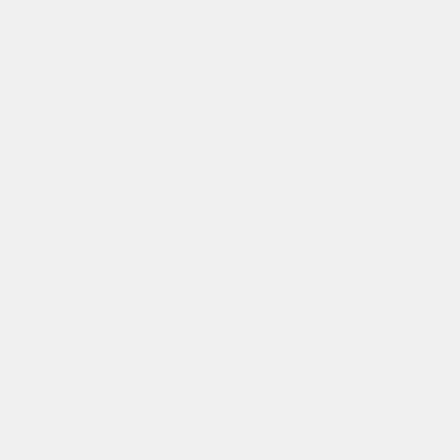I will simply ask you to stick to the origin... Israel did the most serious damage in h...
If you want to talk about the alleged hu... come Aoun himself does not think there...
If we want to take all the claimed agains... believed many things that are not true. I... world that a mass grave was discovered...
few days later we found out that those w... people who died in Ottoman times.
But of course the damage is done alrea...
So please, let us stick to what we know,...
I was speaking last week to a Palestinia... for millions who believe the same … so... opinions?
October 8th, 2007, 8:41 pm
SIMOHURTTA said:
No doubt that Syria has problems with h... watch the Human Rights Watch's repor... with handle a few individuals treatment.... much more serious and handle with the... Also the amount of reports, letters etc a... about Syria. And even almost 50 percen...
Israeli guys (the first, second etc) and th...